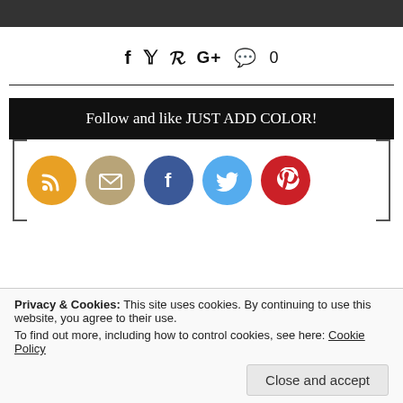[Figure (photo): Dark photo strip at top of page]
f  y  p  G+  💬 0
[Figure (infographic): Follow and like JUST ADD COLOR! section with RSS, email, Facebook, Twitter, Pinterest circular icons inside a bracket-bordered box]
Privacy & Cookies: This site uses cookies. By continuing to use this website, you agree to their use.
To find out more, including how to control cookies, see here: Cookie Policy
Close and accept